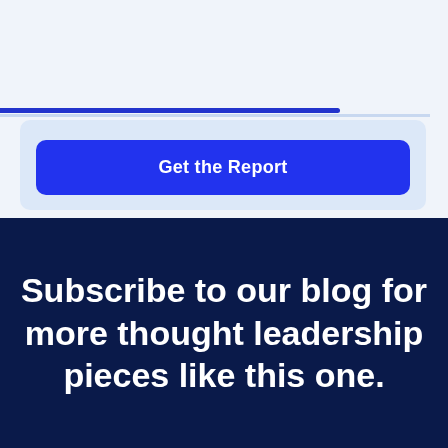[Figure (other): Blue button labeled 'Get the Report' on a light blue card background, with a blue horizontal bar accent above]
Subscribe to our blog for more thought leadership pieces like this one.